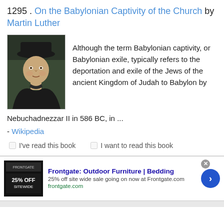1295 . On the Babylonian Captivity of the Church by Martin Luther
[Figure (photo): Portrait painting of Martin Luther wearing a black hat and robe, against a dark background]
Although the term Babylonian captivity, or Babylonian exile, typically refers to the deportation and exile of the Jews of the ancient Kingdom of Judah to Babylon by Nebuchadnezzar II in 586 BC, in ...
- Wikipedia
☐ I've read this book   ☐ I want to read this book
[Figure (screenshot): Advertisement banner for Frontgate: Outdoor Furniture | Bedding. 25% off site wide sale going on now at Frontgate.com. frontgate.com]